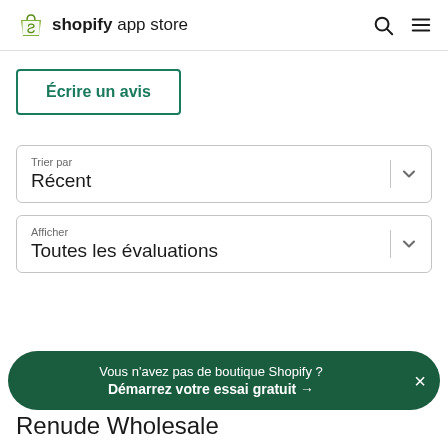[Figure (logo): Shopify App Store logo with green bag icon and text 'shopify app store' plus search and menu icons]
Écrire un avis
Trier par
Récent
Afficher
Toutes les évaluations
Vous n'avez pas de boutique Shopify ?
Démarrez votre essai gratuit →
Renude Wholesale